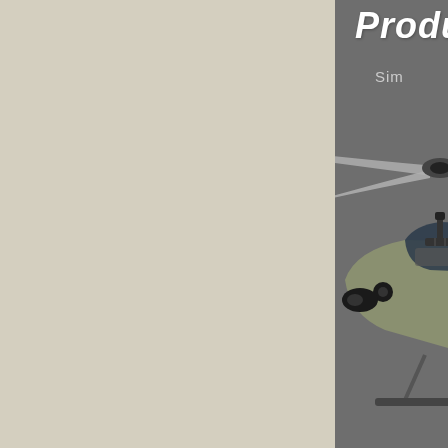Produ
Sim
[Figure (photo): Military helicopter (olive drab / army green UH-60 Black Hawk type) with rotor blades visible, marked 'EJC 214' on fuselage, photographed against a gray background. Only the right portion of the helicopter is visible, cropped by the page edge.]